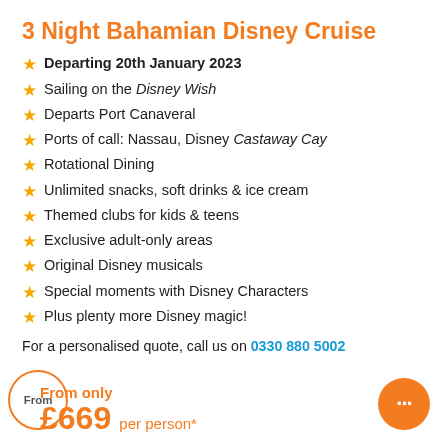3 Night Bahamian Disney Cruise
Departing 20th January 2023
Sailing on the Disney Wish
Departs Port Canaveral
Ports of call: Nassau, Disney Castaway Cay
Rotational Dining
Unlimited snacks, soft drinks & ice cream
Themed clubs for kids & teens
Exclusive adult-only areas
Original Disney musicals
Special moments with Disney Characters
Plus plenty more Disney magic!
For a personalised quote, call us on 0330 880 5002
From only £669 per person*